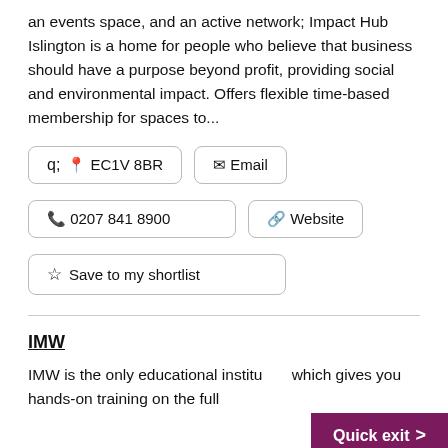an events space, and an active network; Impact Hub Islington is a home for people who believe that business should have a purpose beyond profit, providing social and environmental impact. Offers flexible time-based membership for spaces to...
EC1V 8BR
Email
0207 841 8900
Website
Save to my shortlist
IMW
IMW is the only educational institu which gives you hands-on training on the full
Quick exit >